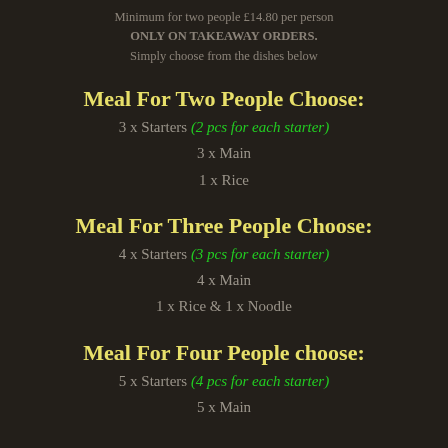Minimum for two people £14.80 per person ONLY ON TAKEAWAY ORDERS. Simply choose from the dishes below
Meal For Two People Choose:
3 x Starters (2 pcs for each starter)
3 x Main
1 x Rice
Meal For Three People Choose:
4 x Starters (3 pcs for each starter)
4 x Main
1 x Rice & 1 x Noodle
Meal For Four People choose:
5 x Starters (4 pcs for each starter)
5 x Main